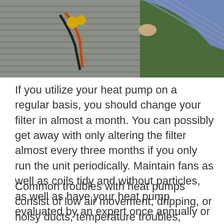[Figure (photo): A technician in a blue striped shirt working on an outdoor HVAC heat pump unit, connecting refrigerant hoses and gauges to the unit.]
If you utilize your heat pump on a regular basis, you should change your filter in almost a month. You can possibly get away with only altering the filter almost every three months if you only run the unit periodically. Maintain fans as well as coils tidy and without particles, as well as have your heat pump evaluated by an expert once annually or more.
Common troubles with heat pumps consist of low air movement, dripping, or noisy ducts, temperature troubles, utilizing the wrong refrigerant charge, squeals, rattles, as well as grinding noises. If you can, attempt to separate the location of the trouble. Is the airflow only low appearing of one register, or do all